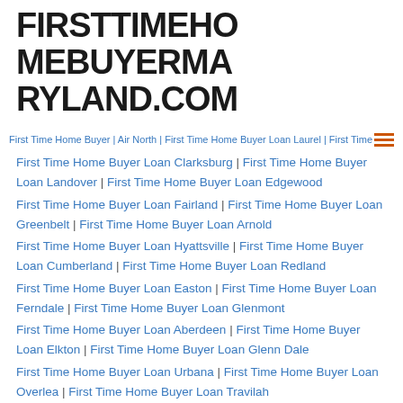FIRSTTIMEHOMEBUYERMARYLAND.COM
First Time Home Buyer | Air North | First Time Home Buyer Loan Laurel | First Time Home Buyer Loan Carney
First Time Home Buyer Loan Clarksburg | First Time Home Buyer Loan Landover | First Time Home Buyer Loan Edgewood
First Time Home Buyer Loan Fairland | First Time Home Buyer Loan Greenbelt | First Time Home Buyer Loan Arnold
First Time Home Buyer Loan Hyattsville | First Time Home Buyer Loan Cumberland | First Time Home Buyer Loan Redland
First Time Home Buyer Loan Easton | First Time Home Buyer Loan Ferndale | First Time Home Buyer Loan Glenmont
First Time Home Buyer Loan Aberdeen | First Time Home Buyer Loan Elkton | First Time Home Buyer Loan Glenn Dale
First Time Home Buyer Loan Urbana | First Time Home Buyer Loan Overlea | First Time Home Buyer Loan Travilah
First Time Home Buyer Loan Mitchellville | First Time Home Buyer Loan Bel Air Town | First Time Home Buyer Loan Fort Meade
First Time Home Buyer Loan Fairwood | First Time Home Buyer Loan